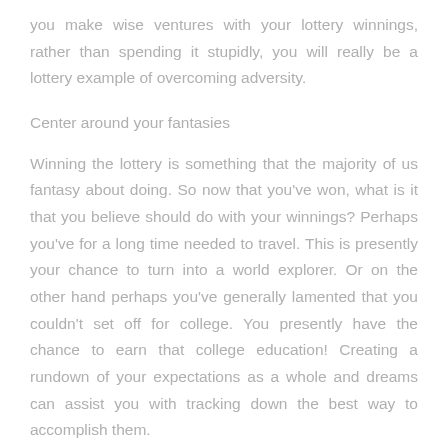you make wise ventures with your lottery winnings, rather than spending it stupidly, you will really be a lottery example of overcoming adversity.
Center around your fantasies
Winning the lottery is something that the majority of us fantasy about doing. So now that you've won, what is it that you believe should do with your winnings? Perhaps you've for a long time needed to travel. This is presently your chance to turn into a world explorer. Or on the other hand perhaps you've generally lamented that you couldn't set off for college. You presently have the chance to earn that college education! Creating a rundown of your expectations as a whole and dreams can assist you with tracking down the best way to accomplish them.